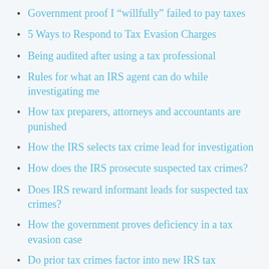Government proof I “willfully” failed to pay taxes
5 Ways to Respond to Tax Evasion Charges
Being audited after using a tax professional
Rules for what an IRS agent can do while investigating me
How tax preparers, attorneys and accountants are punished
How the IRS selects tax crime lead for investigation
How does the IRS prosecute suspected tax crimes?
Does IRS reward informant leads for suspected tax crimes?
How the government proves deficiency in a tax evasion case
Do prior tax crimes factor into new IRS tax convictions?